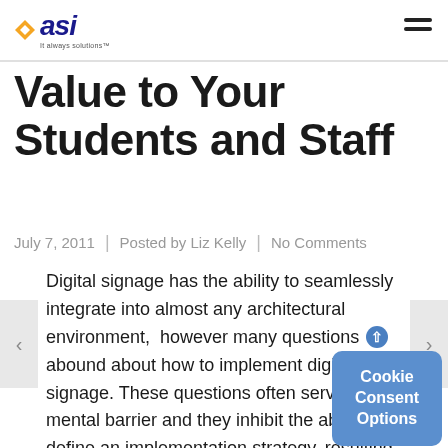asi
Value to Your Students and Staff
July 7, 2011  |  Posted by Liz Kelly  |  No Comments
Digital signage has the ability to seamlessly integrate into almost any architectural environment,  however many questions abound about how to implement digital signage. These questions often serve as a mental barrier and they inhibit the ability to define an implementation strategy, resulting in a difficult decision making process for the client or facility manager. Is digital signage really effective the technology be out-of-date by the tim signs are installed?  How do we manage? How